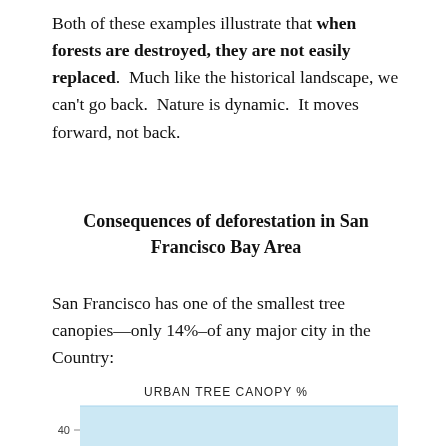Both of these examples illustrate that when forests are destroyed, they are not easily replaced. Much like the historical landscape, we can't go back. Nature is dynamic. It moves forward, not back.
Consequences of deforestation in San Francisco Bay Area
San Francisco has one of the smallest tree canopies—only 14%–of any major city in the Country:
[Figure (bar-chart): Bar chart showing Urban Tree Canopy %, partial view with y-axis starting at 40 and a light blue bar visible]